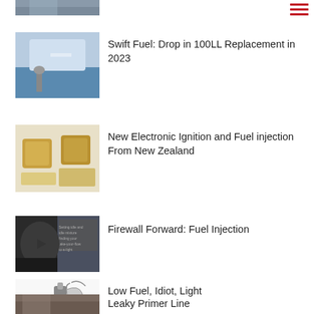[Figure (photo): Partial image at top of page, cropped]
[Figure (other): Red hamburger menu icon]
[Figure (photo): Person on ladder refueling aircraft]
Swift Fuel: Drop in 100LL Replacement in 2023
[Figure (photo): Electronic ignition and fuel injection components, gold colored parts]
New Electronic Ignition and Fuel injection From New Zealand
[Figure (photo): Video thumbnail of man at desk with play button]
Firewall Forward: Fuel Injection
[Figure (photo): Fuel sensor/switch components with wires on white background]
Low Fuel, Idiot, Light
[Figure (photo): Partial image at bottom, close-up of mechanical part]
Leaky Primer Line